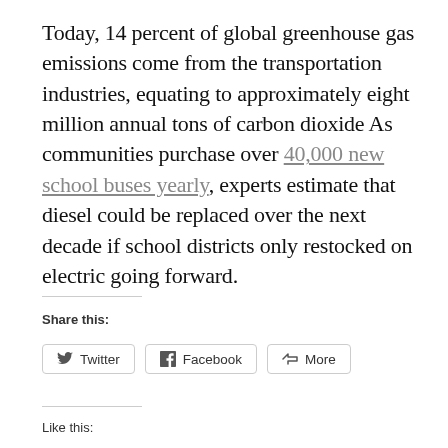Today, 14 percent of global greenhouse gas emissions come from the transportation industries, equating to approximately eight million annual tons of carbon dioxide As communities purchase over 40,000 new school buses yearly, experts estimate that diesel could be replaced over the next decade if school districts only restocked on electric going forward.
Share this:
Twitter  Facebook  More
Like this: